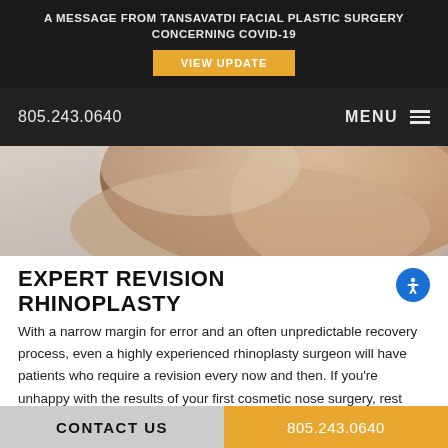A MESSAGE FROM TANSAVATDI FACIAL PLASTIC SURGERY CONCERNING COVID-19
VIEW UPDATE
805.243.0640  MENU
[Figure (photo): Close-up photo of a person's face/neck profile against a light grey background, showing smooth skin of the chin, neck and shoulder area.]
EXPERT REVISION RHINOPLASTY
With a narrow margin for error and an often unpredictable recovery process, even a highly experienced rhinoplasty surgeon will have patients who require a revision every now and then. If you're unhappy with the results of your first cosmetic nose surgery, rest assured that you are not alone. It's normal to want to seek the help of a surgeon to
CONTACT US  805.243.0640